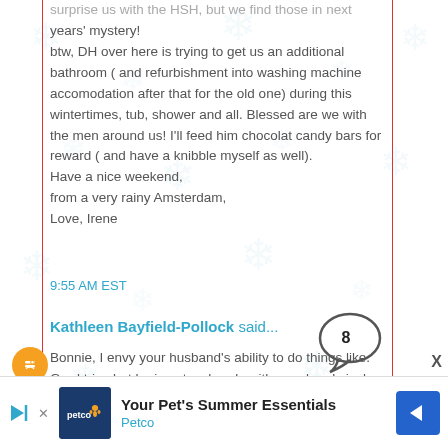surprise us with the HSH, but we find those in next years' mystery! btw, DH over here is trying to get us an additional bathroom ( and refurbishment into washing machine accomodation after that for the old one) during this wintertimes, tub, shower and all. Blessed are we with the men around us! I'll feed him chocolat candy bars for reward ( and have a knibble myself as well). Have a nice weekend, from a very rainy Amsterdam, Love, Irene
9:55 AM EST
[Figure (illustration): Comment speech bubble icon with the number 8 inside]
Kathleen Bayfield-Pollock said...
[Figure (illustration): Orange Blogger avatar circle with stylized B icon]
Bonnie, I envy your husband's ability to do things like. Gord tries but he is not as handy with wood and vinyl as he is with steel. On another note, I will be picking up my christmas present to me in the new year - an approximately 1895-1903 Raymond Treadle machine, which has spent the last 25 years
[Figure (infographic): Petco advertisement banner: 'Your Pet's Summer Essentials' with Petco logo and blue arrow button]